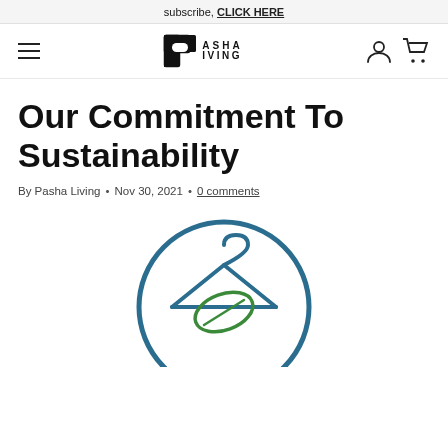subscribe, CLICK HERE
[Figure (logo): Pasha Living logo with hamburger menu, user icon, and cart icon]
Our Commitment To Sustainability
By Pasha Living • Nov 30, 2021 • 0 comments
[Figure (illustration): Circle icon with a clothes hanger and a green leaf, representing sustainable fashion]